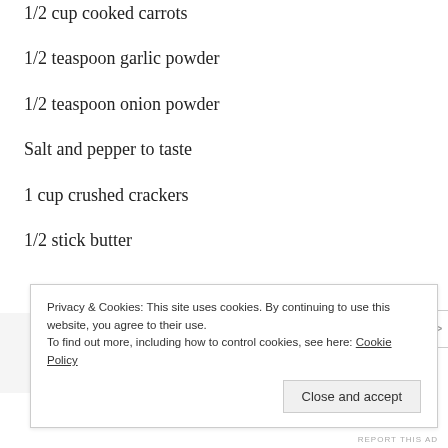1/2 cup cooked carrots
1/2 teaspoon garlic powder
1/2 teaspoon onion powder
Salt and pepper to taste
1 cup crushed crackers
1/2 stick butter
Privacy & Cookies: This site uses cookies. By continuing to use this website, you agree to their use.
To find out more, including how to control cookies, see here: Cookie Policy
Close and accept